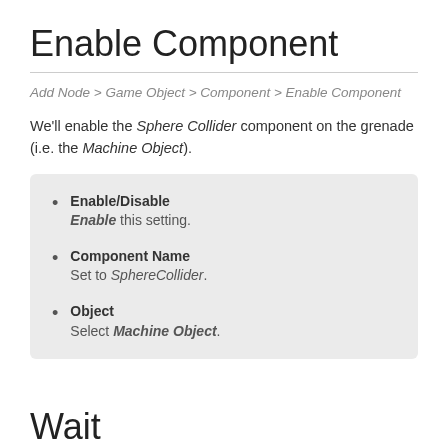Enable Component
Add Node > Game Object > Component > Enable Component
We'll enable the Sphere Collider component on the grenade (i.e. the Machine Object).
Enable/Disable — Enable this setting.
Component Name — Set to SphereCollider.
Object — Select Machine Object.
Wait